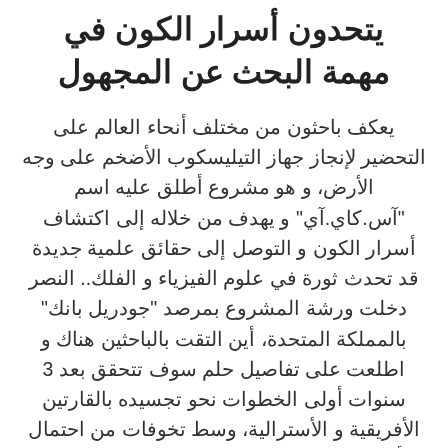يتحدون أسرار الكون في مهمة البحث عن المجهول
يعكف باحثون من مختلف أنحاء العالم على التحضير لإنجاز جهاز التيليسكوب الأضخم على وجه الأرض، و هو مشروع أطلق عليه اسم "آس.كاي.آي" و يهدف من خلاله إلى اكتشاف أسرار الكون و التوصل إلى حقائق علمية جديدة قد تحدث ثورة في علوم الفيزياء و الفلك.. النصر دخلت ورشة المشروع بمرصد "جودريل بانك" بالمملكة المتحدة، أين التقت بالباحثين هناك و اطلعت على تفاصيل حلم سوف تتحقق بعد 3 سنوات أولى الخطوات نحو تجسيده بالقارتين الأفريقية و الأسترالية، وسط تخوفات من احتمال تأثير المتغيرات السياسية على تموزله الدولي، بسما أن يد...